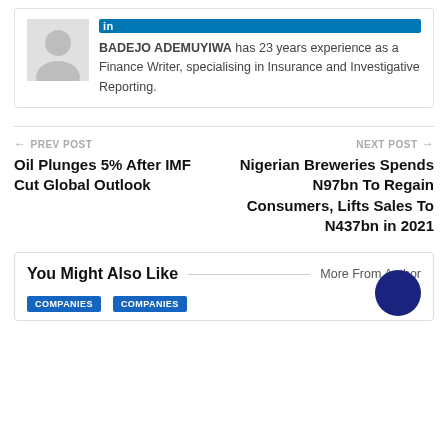BADEJO ADEMUYIWA has 23 years experience as a Finance Writer, specialising in Insurance and Investigative Reporting.
PREV POST
Oil Plunges 5% After IMF Cut Global Outlook
NEXT POST
Nigerian Breweries Spends N97bn To Regain Consumers, Lifts Sales To N437bn in 2021
You Might Also Like
More From Author
COMPANIES
COMPANIES